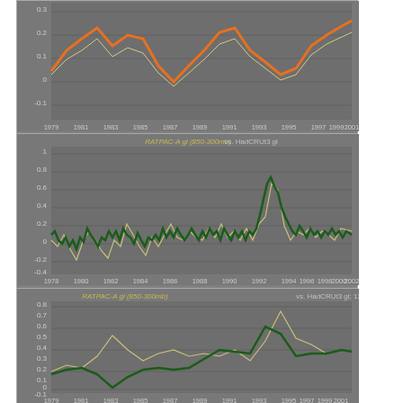[Figure (line-chart): Partial top chart showing orange and white lines, time series 1979-2001, y-axis -0.1 to 0.3]
[Figure (line-chart): Middle chart showing dark green and light yellow lines, time series 1978-2002, y-axis -0.4 to 1]
[Figure (line-chart): Bottom chart showing dark green and light yellow smoothed lines, time series 1979-2001, y-axis -0.1 to 0.8]